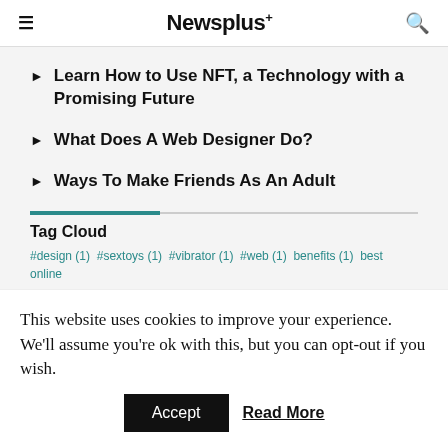Newsplus+
Learn How to Use NFT, a Technology with a Promising Future
What Does A Web Designer Do?
Ways To Make Friends As An Adult
Tag Cloud
#design (1) #sextoys (1) #vibrator (1) #web (1) benefits (1) best online marketing services (1) betting (1) Bitcoin (1) ecommerce (2)
This website uses cookies to improve your experience. We'll assume you're ok with this, but you can opt-out if you wish.